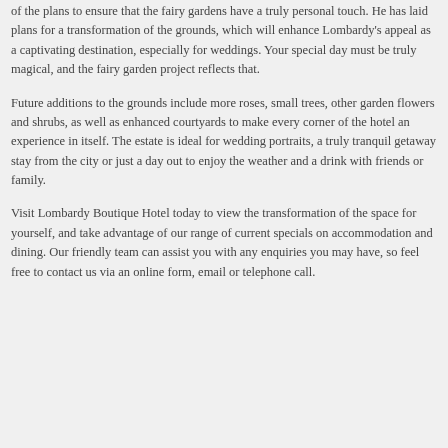of the plans to ensure that the fairy gardens have a truly personal touch. He has laid plans for a transformation of the grounds, which will enhance Lombardy's appeal as a captivating destination, especially for weddings. Your special day must be truly magical, and the fairy garden project reflects that.
Future additions to the grounds include more roses, small trees, other garden flowers and shrubs, as well as enhanced courtyards to make every corner of the hotel an experience in itself. The estate is ideal for wedding portraits, a truly tranquil getaway stay from the city or just a day out to enjoy the weather and a drink with friends or family.
Visit Lombardy Boutique Hotel today to view the transformation of the space for yourself, and take advantage of our range of current specials on accommodation and dining. Our friendly team can assist you with any enquiries you may have, so feel free to contact us via an online form, email or telephone call.